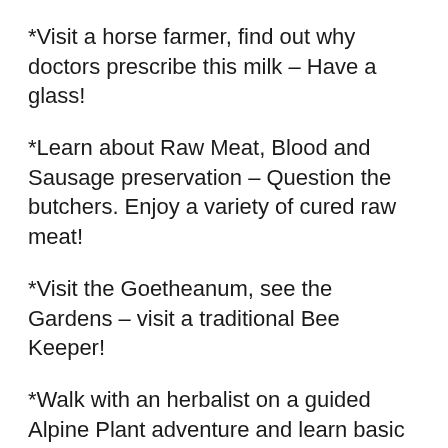*Visit a horse farmer, find out why doctors prescribe this milk – Have a glass!
*Learn about Raw Meat, Blood and Sausage preservation – Question the butchers. Enjoy a variety of cured raw meat!
*Visit the Goetheanum, see the Gardens – visit a traditional Bee Keeper!
*Walk with an herbalist on a guided Alpine Plant adventure and learn basic 'hands on' Salve making. Take your own salve home!
*Use your elbow grease: make your own